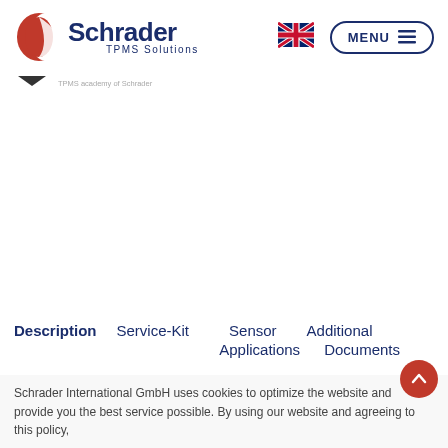[Figure (logo): Schrader TPMS Solutions logo with red circular icon and dark blue text]
[Figure (illustration): UK flag icon for language selection]
[Figure (other): MENU button with hamburger icon in rounded rectangle border]
[Figure (other): Navigation breadcrumb arrow dropdown]
TPMS academy of Schrader
Description  Service-Kit  Sensor  Additional Applications  Documents
Schrader International GmbH uses cookies to optimize the website and provide you the best service possible. By using our website and agreeing to this policy,